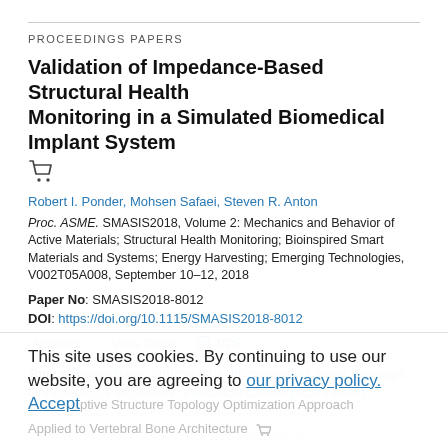PROCEEDINGS PAPERS
Validation of Impedance-Based Structural Health Monitoring in a Simulated Biomedical Implant System
Robert I. Ponder, Mohsen Safaei, Steven R. Anton
Proc. ASME. SMASIS2018, Volume 2: Mechanics and Behavior of Active Materials; Structural Health Monitoring; Bioinspired Smart Materials and Systems; Energy Harvesting; Emerging Technologies, V002T05A008, September 10–12, 2018
Paper No: SMASIS2018-8012
DOI: https://doi.org/10.1115/SMASIS2018-8012
Abstract  View Paper  PDF
Topics: Biomedicine, Structural health monitoring, Bone, Damage, Orthopedics, Piezoelectric transducers, Aerospace industry, Biomechanics, Knee joint prostheses, Performance
This site uses cookies. By continuing to use our website, you are agreeing to our privacy policy. Accept
ptive Structure Topology Optimization Approach Applied to Vertebral Bone Architecture